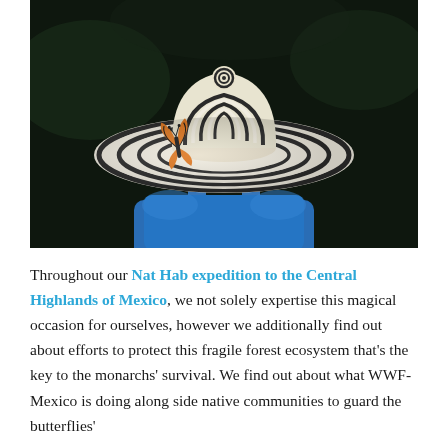[Figure (photo): A person seen from behind wearing a large black-and-white striped wide-brim hat and a blue jacket with a backpack, against a dark background. A monarch butterfly is perched on the brim of the hat.]
Throughout our Nat Hab expedition to the Central Highlands of Mexico, we not solely expertise this magical occasion for ourselves, however we additionally find out about efforts to protect this fragile forest ecosystem that's the key to the monarchs' survival. We find out about what WWF-Mexico is doing along side native communities to guard the butterflies'